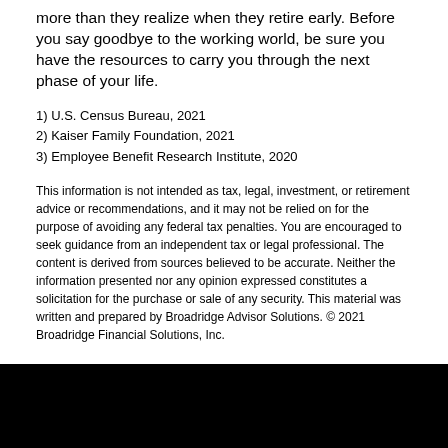more than they realize when they retire early. Before you say goodbye to the working world, be sure you have the resources to carry you through the next phase of your life.
1) U.S. Census Bureau, 2021
2) Kaiser Family Foundation, 2021
3) Employee Benefit Research Institute, 2020
This information is not intended as tax, legal, investment, or retirement advice or recommendations, and it may not be relied on for the purpose of avoiding any federal tax penalties. You are encouraged to seek guidance from an independent tax or legal professional. The content is derived from sources believed to be accurate. Neither the information presented nor any opinion expressed constitutes a solicitation for the purchase or sale of any security. This material was written and prepared by Broadridge Advisor Solutions. © 2021 Broadridge Financial Solutions, Inc.
Site Map